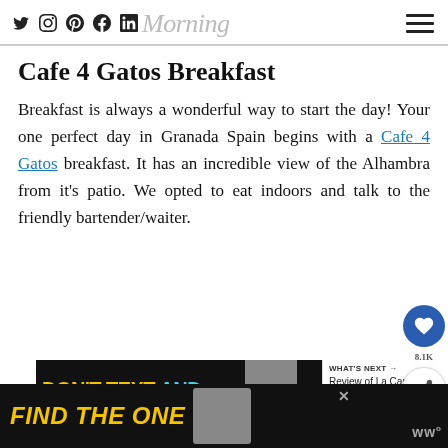Morning [social icons: Twitter, Instagram, Pinterest, Facebook, LinkedIn] [hamburger menu]
Cafe 4 Gatos Breakfast
Breakfast is always a wonderful way to start the day! Your one perfect day in Granada Spain begins with a Cafe 4 Gatos breakfast. It has an incredible view of the Alhambra from it's patio. We opted to eat indoors and talk to the friendly bartender/waiter.
[Figure (infographic): Advertisement banner: DON'T TEXT AND [car emoji] with a dog image and WHAT'S NEXT → Review of La Campana in...]
[Figure (infographic): Bottom advertisement banner: FIND THE ONE [dog image] with close button and logo]